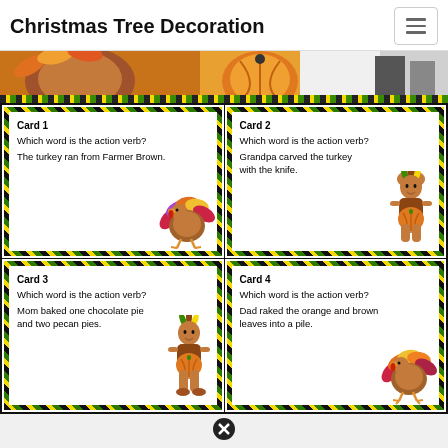Christmas Tree Decoration
[Figure (illustration): Thanksgiving themed banner with turkey and decorative elements]
[Figure (illustration): Card 1: Which word is the action verb? The turkey ran from Farmer Brown. Illustration of a colorful turkey.]
[Figure (illustration): Card 2: Which word is the action verb? Grandpa carved the turkey with the knife. Illustration of a Native American child holding a pumpkin.]
[Figure (illustration): Card 3: Which word is the action verb? Mom baked one chocolate pie and two pecan pies. Illustration of a Native American child holding a pumpkin.]
[Figure (illustration): Card 4: Which word is the action verb? Dad raked the orange and brown leaves into a pile. Illustration of a colorful turkey.]